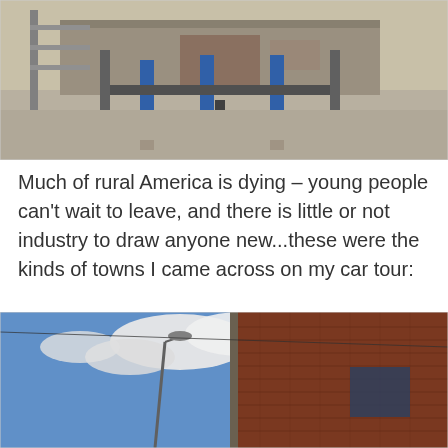[Figure (photo): Photo of an abandoned or vacant commercial building with gas station canopy frame structure visible in the foreground. Blue bollards and a concrete platform are visible. The building in the background appears to be a strip commercial property or former service station in a rural American town.]
Much of rural America is dying – young people can't wait to leave, and there is little or not industry to draw anyone new...these were the kinds of towns I came across on my car tour:
[Figure (photo): Photo of a brick building in a small town, taken from a low angle showing blue sky with clouds. A street lamp is visible on the left side. The brick building appears old and commercial in nature, indicative of a declining rural downtown area.]